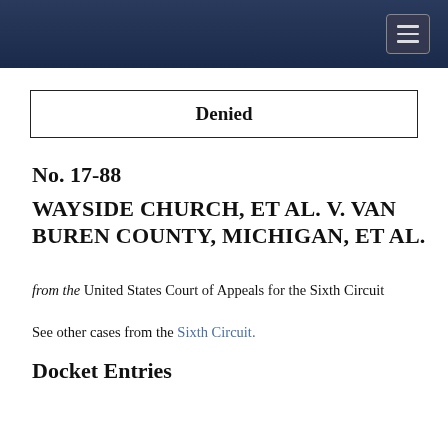[Figure (other): Dark navy blue navigation bar with hamburger menu icon (three horizontal lines) in a bordered button at the top right]
Denied
No. 17-88
Wayside Church, et al. v. Van Buren County, Michigan, et al.
from the United States Court of Appeals for the Sixth Circuit
See other cases from the Sixth Circuit.
Docket Entries
| Petition DENIED. | on October 30, 2017 |